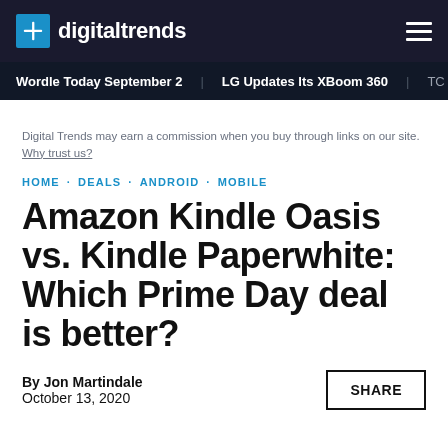digitaltrends
Wordle Today September 2   LG Updates Its XBoom 360   TC
Digital Trends may earn a commission when you buy through links on our site. Why trust us?
HOME · DEALS · ANDROID · MOBILE
Amazon Kindle Oasis vs. Kindle Paperwhite: Which Prime Day deal is better?
By Jon Martindale
October 13, 2020